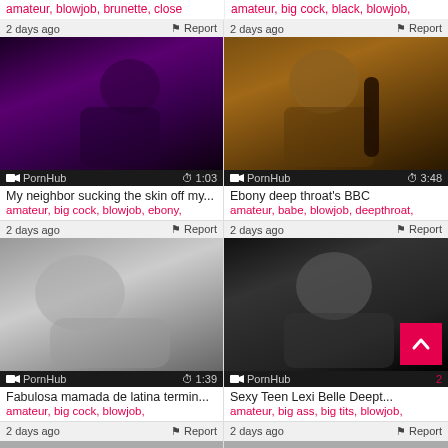amateur, blowjob, brunette, close
amateur, big cock, black, blowjob,
[Figure (photo): Video thumbnail purple-lit scene, PornHub logo, duration 1:03]
My neighbor sucking the skin off my...
amateur, big cock, blowjob, ebony,
[Figure (photo): Video thumbnail dark-toned scene, PornHub logo, duration 3:48]
Ebony deep throat's BBC
amateur, babe, blowjob, deepthroat,
[Figure (photo): Video thumbnail gray-toned scene, PornHub logo, duration 1:39]
Fabulosa mamada de latina termin...
amateur, big cock, blowjob,
[Figure (photo): Video thumbnail dark scene with scroll-to-top button overlay, PornHub logo]
Sexy Teen Lexi Belle Deept...
amateur, big ass, big tits, blowjob,
2 days ago   Report
2 days ago   Report